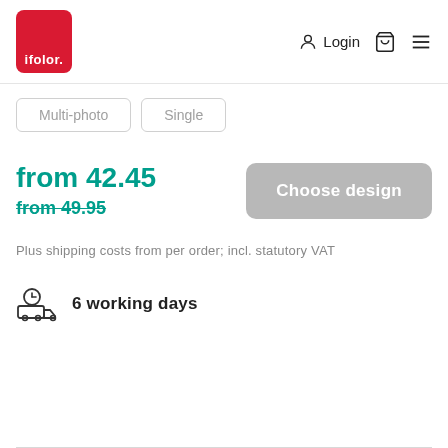ifolor. Login
Multi-photo
Single
from 42.45
from 49.95
Choose design
Plus shipping costs from per order; incl. statutory VAT
6 working days